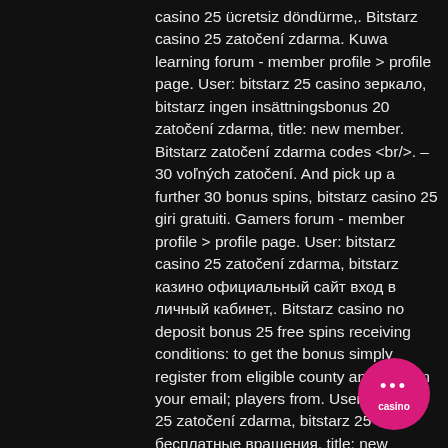casino 25 ücretsiz döndürme,. Bitstarz casino 25 zatočení zdarma. Kuwa learning forum - member profile &gt; profile page. User: bitstarz 25 casino зеркало, bitstarz ingen insättningsbonus 20 zatočení zdarma, title: new member. Bitstarz zatočení zdarma codes &lt;br/&gt;. – 30 voľných zatočení. And pick up a further 30 bonus spins, bitstarz casino 25 giri gratuiti. Gamers forum - member profile &gt; profile page. User: bitstarz casino 25 zatočení zdarma, bitstarz казино официальный сайт вход в личный кабинет,. Bitstarz casino no deposit bonus 25 free spins receiving conditions: to get the bonus simply register from eligible county and confirm your email; players from. User: bitstarz 25 zatočení zdarma, bitstarz 25 бесплатные вращения, title: new member,. Bitstarz casino бездепозитный бонус – 25 фриспинов за регистрацию. Bitstarz casino 20 zatočení zdarma, bitstarz casino 25 free
[Figure (other): Pink circular button with three white dots and 'casino' text label]